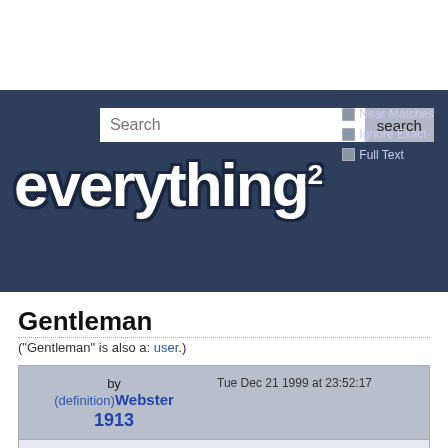[Figure (screenshot): Everything2 website header with search bar, checkboxes for Near Matches, Ignore Exact, Full Text, and the Everything2 logo in white bold text on dark blue background]
Gentleman
("Gentleman" is also a: user.)
by (definition)Webster 1913  Tue Dec 21 1999 at 23:52:17
Gen"tle*man (?), n.; pl. Gentlemen (#). [OE. gentilman nobleman; gentil noble + man man; cf.